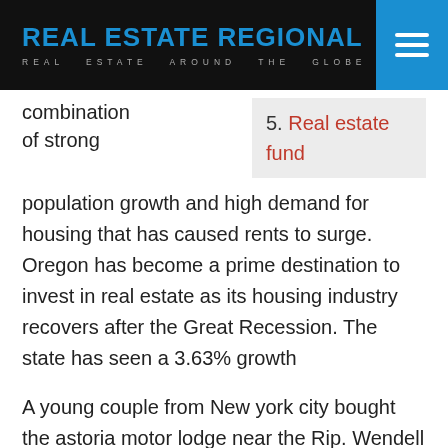REAL ESTATE REGIONAL
REAL ESTATE AROUND THE GLOBE
combination
of strong
5. Real estate fund
population growth and high demand for housing that has caused rents to surge. Oregon has become a prime destination to invest in real estate as its housing industry recovers after the Great Recession. The state has seen a 3.63% growth
A young couple from New york city bought the astoria motor lodge near the Rip. Wendell is CEO of Mountain Shore Properties, a real estate development company whose property portfolio includes.